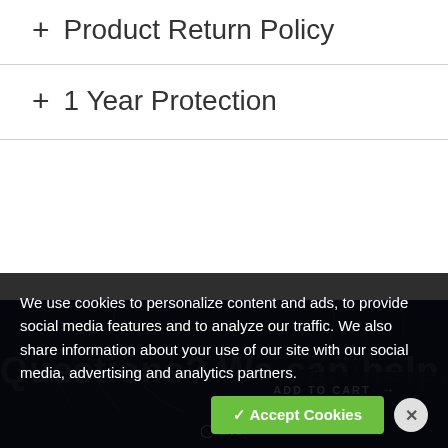+ Product Return Policy
+ 1 Year Protection
[Figure (screenshot): Dark navy footer section with decorative circular arc graphic and 'Questions? We can help.' text watermark, ADD TO CART button, and Live chat link]
We use cookies to personalize content and ads, to provide social media features and to analyze our traffic. We also share information about your use of our site with our social media, advertising and analytics partners.
✓ Accept Cookies